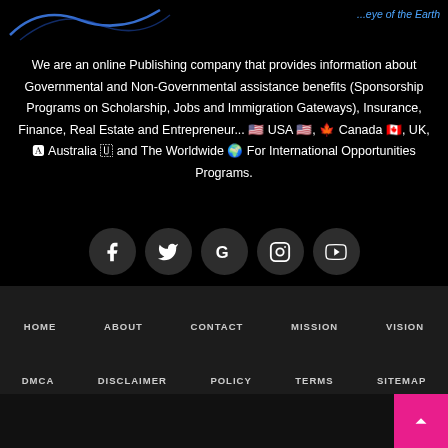[Figure (logo): Swoosh/logo graphic in blue on top left]
...eye of the Earth
We are an online Publishing company that provides information about Governmental and Non-Governmental assistance benefits (Sponsorship Programs on Scholarship, Jobs and Immigration Gateways), Insurance, Finance, Real Estate and Entrepreneur... 🇺🇸 USA 🇺🇸, 🍁 Canada 🇨🇦, UK, 🅰 Australia 🇺 and The Worldwide 🌍 For International Opportunities Programs.
[Figure (infographic): Row of 5 social media icons: Facebook, Twitter, Google, Instagram, YouTube — dark circular buttons with white icons]
HOME   ABOUT   CONTACT   MISSION   VISION   DMCA   DISCLAIMER   POLICY   TERMS   SITEMAP